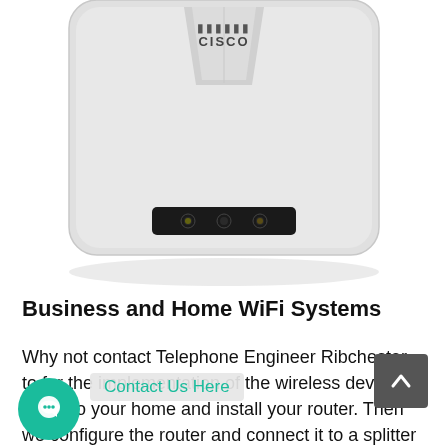[Figure (photo): Cisco wireless access point / router device, white, viewed from slightly above, with a black LED indicator bar on the front showing three small circular lights. The Cisco logo and bridge graphic appear at the top.]
Business and Home WiFi Systems
Why not contact Telephone Engineer Ribchester to for the implementation of the wireless device we come to your home and install your router. Then we configure the router and connect it to a splitter / DSL modem and make the network secure before the Internet connection is complete. Finally, we conduct a comprehensive functional test of the Wi-Fi setup, advise you on the use of wireless amplifiers / repeaters and provide you with all the documents of your Wi-Fi device, including how to connect other devices with the password protection. Whether in our